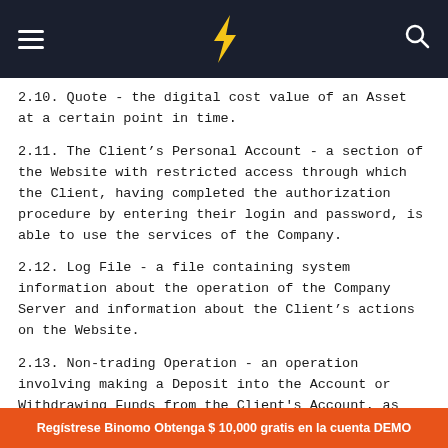Binomo navigation header
2.10. Quote - the digital cost value of an Asset at a certain point in time.
2.11. The Client’s Personal Account - a section of the Website with restricted access through which the Client, having completed the authorization procedure by entering their login and password, is able to use the services of the Company.
2.12. Log File - a file containing system information about the operation of the Company Server and information about the Client’s actions on the Website.
2.13. Non-trading Operation - an operation involving making a Deposit into the Account or Withdrawing Funds from the Client's Account, as well as other
Regístrese Binomo Obtenga $ 10,000 gratis en la cuenta DEMO